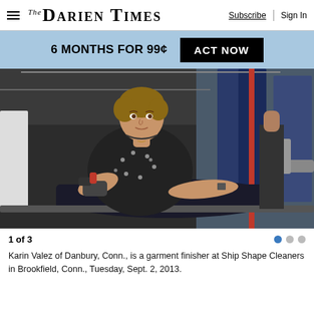The Darien Times — Subscribe | Sign In
6 MONTHS FOR 99¢  ACT NOW
[Figure (photo): A woman named Karin Valez working as a garment finisher at Ship Shape Cleaners, using an iron at an ironing station with garments hanging in the background.]
1 of 3
Karin Valez of Danbury, Conn., is a garment finisher at Ship Shape Cleaners in Brookfield, Conn., Tuesday, Sept. 2, 2013.